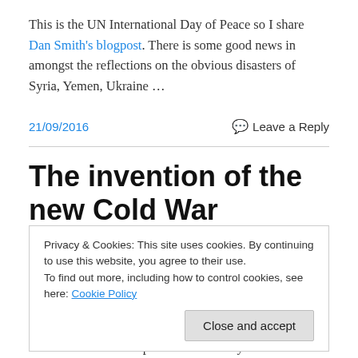This is the UN International Day of Peace so I share Dan Smith's blogpost. There is some good news in amongst the reflections on the obvious disasters of Syria, Yemen, Ukraine …
21/09/2016   Leave a Reply
The invention of the new Cold War
Privacy & Cookies: This site uses cookies. By continuing to use this website, you agree to their use.
To find out more, including how to control cookies, see here: Cookie Policy
Close and accept
attack the UK? What possible rationality could be